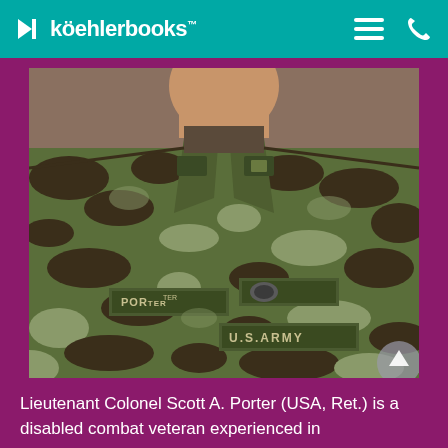köehlerbooks
[Figure (photo): Headless portrait of a soldier wearing US Army woodland camouflage BDU uniform with name tape 'PORTER' and 'U.S.ARMY' tape visible, rank insignia and unit patch on collar.]
Lieutenant Colonel Scott A. Porter (USA, Ret.) is a disabled combat veteran experienced in